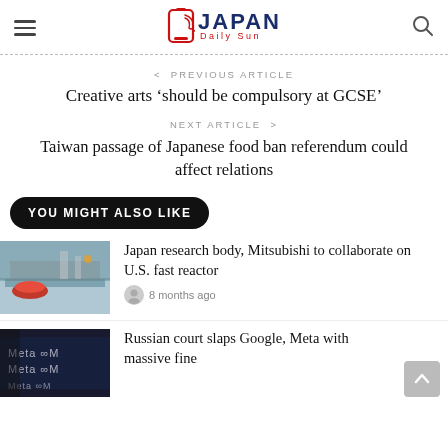Japan Daily Sun
< PREVIOUS ARTICLE
Creative arts 'should be compulsory at GCSE'
NEXT ARTICLE >
Taiwan passage of Japanese food ban referendum could affect relations
YOU MIGHT ALSO LIKE
[Figure (photo): Factory/industrial scene with red car on assembly line]
Japan research body, Mitsubishi to collaborate on U.S. fast reactor
8 months ago
[Figure (photo): Meta logo on dark background]
Russian court slaps Google, Meta with massive fine